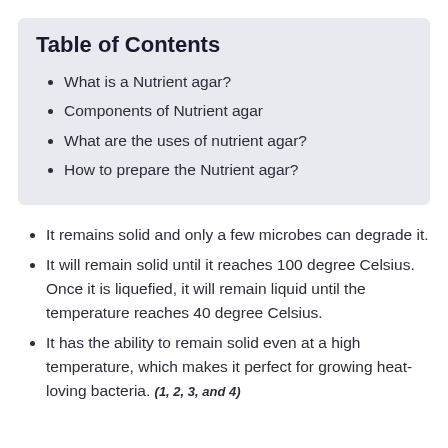Table of Contents
What is a Nutrient agar?
Components of Nutrient agar
What are the uses of nutrient agar?
How to prepare the Nutrient agar?
It remains solid and only a few microbes can degrade it.
It will remain solid until it reaches 100 degree Celsius. Once it is liquefied, it will remain liquid until the temperature reaches 40 degree Celsius.
It has the ability to remain solid even at a high temperature, which makes it perfect for growing heat-loving bacteria. (1, 2, 3, and 4)